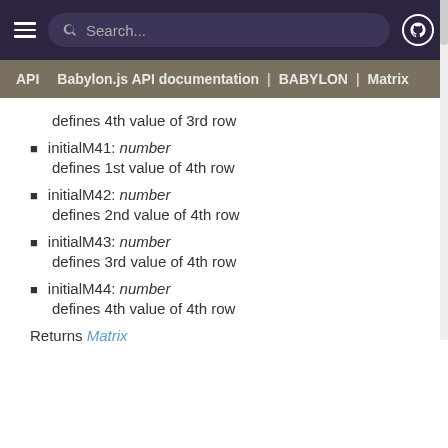Search... | API | Babylon.js API documentation | BABYLON | Matrix
defines 4th value of 3rd row
initialM41: number
defines 1st value of 4th row
initialM42: number
defines 2nd value of 4th row
initialM43: number
defines 3rd value of 4th row
initialM44: number
defines 4th value of 4th row
Returns Matrix